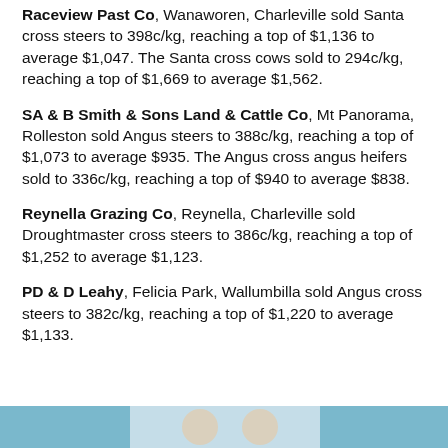Raceview Past Co, Wanaworen, Charleville sold Santa cross steers to 398c/kg, reaching a top of $1,136 to average $1,047. The Santa cross cows sold to 294c/kg, reaching a top of $1,669 to average $1,562.
SA & B Smith & Sons Land & Cattle Co, Mt Panorama, Rolleston sold Angus steers to 388c/kg, reaching a top of $1,073 to average $935. The Angus cross angus heifers sold to 336c/kg, reaching a top of $940 to average $838.
Reynella Grazing Co, Reynella, Charleville sold Droughtmaster cross steers to 386c/kg, reaching a top of $1,252 to average $1,123.
PD & D Leahy, Felicia Park, Wallumbilla sold Angus cross steers to 382c/kg, reaching a top of $1,220 to average $1,133.
[Figure (photo): Partial image strip at the bottom of the page showing what appears to be cattle-related imagery with blue/teal tones]